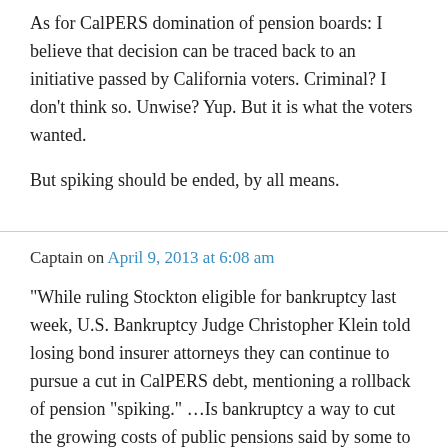As for CalPERS domination of pension boards: I believe that decision can be traced back to an initiative passed by California voters. Criminal? I don't think so. Unwise? Yup. But it is what the voters wanted.
But spiking should be ended, by all means.
Captain on April 9, 2013 at 6:08 am
“While ruling Stockton eligible for bankruptcy last week, U.S. Bankruptcy Judge Christopher Klein told losing bond insurer attorneys they can continue to pursue a cut in CalPERS debt, mentioning a rollback of pension “spiking.” …Is bankruptcy a way to cut the growing costs of public pensions said by some to be